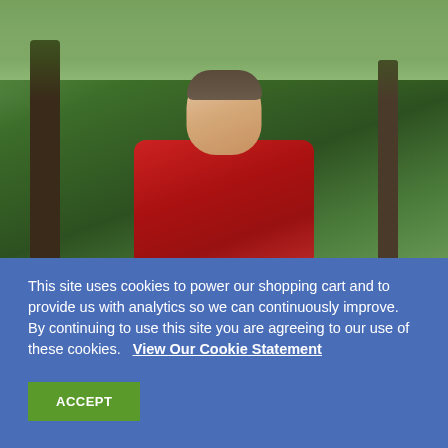[Figure (photo): A person wearing a red jacket standing in a forest, looking upward. Trees with green leaves are visible in the background. The photo has a light blue/grey border on the left and right sides.]
This site uses cookies to power our shopping cart and to provide us with analytics so we can continuously improve.
By continuing to use this site you are agreeing to our use of these cookies.   View Our Cookie Statement
ACCEPT